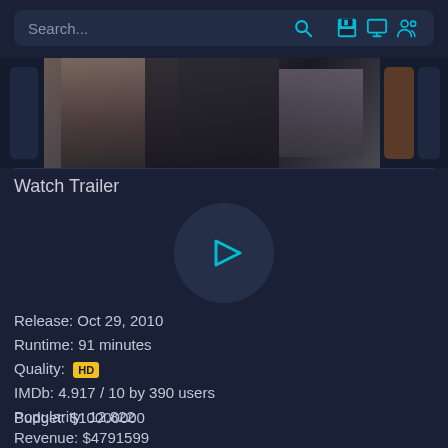Search...
[Figure (photo): Movie scene image strip showing characters in dark clothing]
Watch Trailer
[Figure (other): Play button circle icon for trailer]
Release: Oct 29, 2010
Runtime: 91 minutes
Quality: HD
IMDb: 4.917 / 10 by 390 users
Popularity: 12.822
Budget: $10000000
Revenue: $4791599